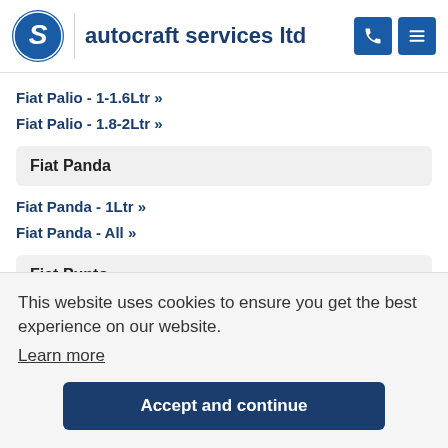autocraft services ltd
Fiat Palio - 1-1.6Ltr »
Fiat Palio - 1.8-2Ltr »
Fiat Panda
Fiat Panda - 1Ltr »
Fiat Panda - All »
Fiat Punto
This website uses cookies to ensure you get the best experience on our website.
Learn more
Accept and continue
Fiat S...